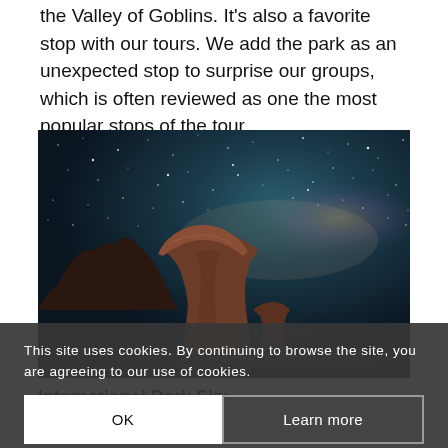the Valley of Goblins. It’s also a favorite stop with our tours. We add the park as an unexpected stop to surprise our groups, which is often reviewed as one the most popular stops of the tour.
[Figure (photo): Night sky photograph showing a tall hoodoo rock formation (goblin) silhouetted against a vivid starry sky with the Milky Way visible. The rock has a mushroom-like cap on top. The scene is at Goblin Valley State Park, Utah.]
This site uses cookies. By continuing to browse the site, you are agreeing to our use of cookies.
International Dark Sky
Utah has mo… nal Dark Sky Parks than anywhere else in the world. Goblin Valley…